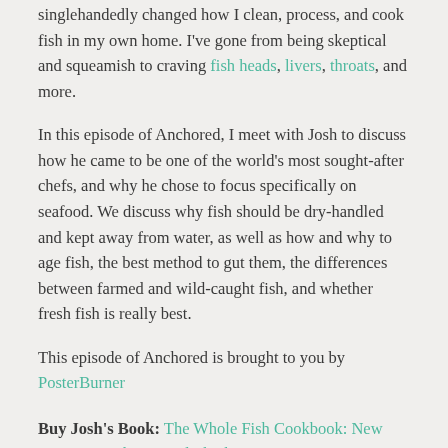singlehandedly changed how I clean, process, and cook fish in my own home. I've gone from being skeptical and squeamish to craving fish heads, livers, throats, and more.
In this episode of Anchored, I meet with Josh to discuss how he came to be one of the world's most sought-after chefs, and why he chose to focus specifically on seafood. We discuss why fish should be dry-handled and kept away from water, as well as how and why to age fish, the best method to gut them, the differences between farmed and wild-caught fish, and whether fresh fish is really best.
This episode of Anchored is brought to you by PosterBurner
Buy Josh's Book: The Whole Fish Cookbook: New Ways to Cook, Eat and Think